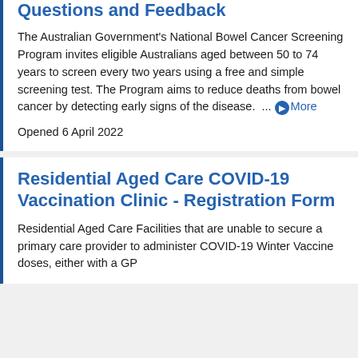Questions and Feedback
The Australian Government's National Bowel Cancer Screening Program invites eligible Australians aged between 50 to 74 years to screen every two years using a free and simple screening test. The Program aims to reduce deaths from bowel cancer by detecting early signs of the disease. ... More
Opened 6 April 2022
Residential Aged Care COVID-19 Vaccination Clinic - Registration Form
Residential Aged Care Facilities that are unable to secure a primary care provider to administer COVID-19 Winter Vaccine doses, either with a GP